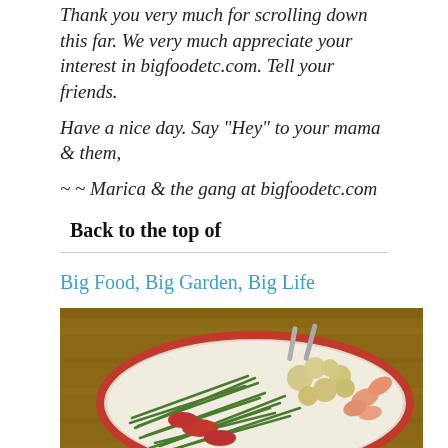Thank you very much for scrolling down this far. We very much appreciate your interest in bigfoodetc.com. Tell your friends.
Have a nice day. Say "Hey" to your mama & them,
~ ~ Marica & the gang at bigfoodetc.com
Back to the top of
Big Food, Big Garden, Big Life
[Figure (photo): Photo of a plate of food including green beans, small potatoes, shrimp, and sausages on a white plate with red rim, on a wooden table]